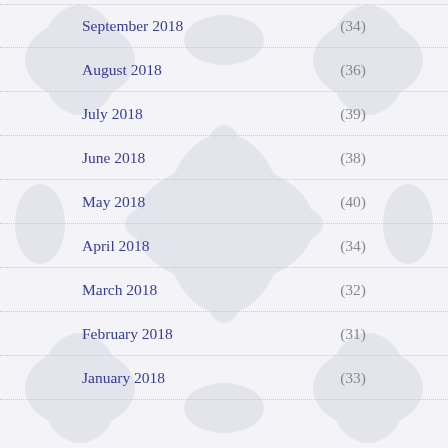September 2018 (34)
August 2018 (36)
July 2018 (39)
June 2018 (38)
May 2018 (40)
April 2018 (34)
March 2018 (32)
February 2018 (31)
January 2018 (33)